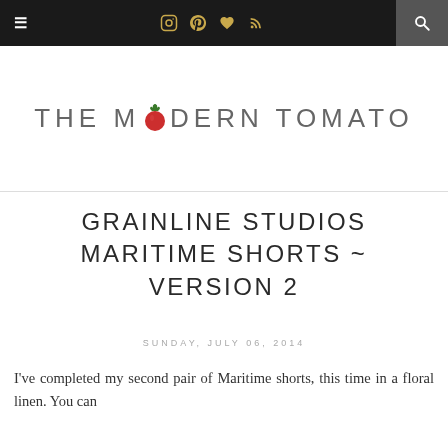≡  [instagram] [pinterest] [heart] [rss]  [search]
[Figure (logo): The Modern Tomato blog logo with a tomato icon replacing the letter O in MODERN]
GRAINLINE STUDIOS MARITIME SHORTS ~ VERSION 2
SUNDAY, JULY 06, 2014
I've completed my second pair of Maritime shorts, this time in a floral linen.  You can